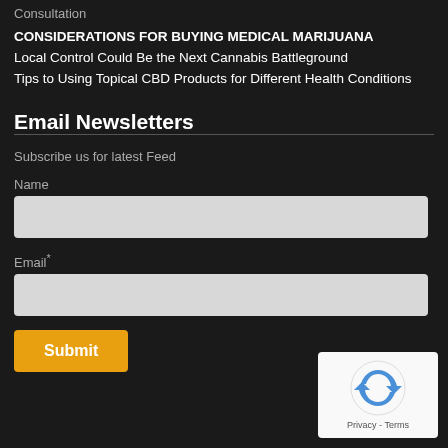Consultation
CONSIDERATIONS FOR BUYING MEDICAL MARIJUANA
Local Control Could Be the Next Cannabis Battleground
Tips to Using Topical CBD Products for Different Health Conditions
Email Newsletters
Subscribe us for latest Feed
Name
Email*
[Figure (other): reCAPTCHA badge with recycling arrow logo and Privacy - Terms text]